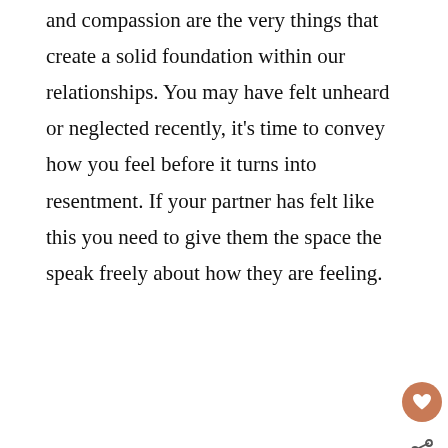and compassion are the very things that create a solid foundation within our relationships. You may have felt unheard or neglected recently, it's time to convey how you feel before it turns into resentment. If your partner has felt like this you need to give them the space the speak freely about how they are feeling.
[Figure (other): Dark banner advertisement for SHE CAN STEM campaign with 'Learn More' button, STEM logo, and Ad Council logo]
[Figure (other): Blue banner advertisement: 'Reach out to a friend about their mental health. Learn more' with SEIZE THE AWKWARD logo and Ad Council badge]